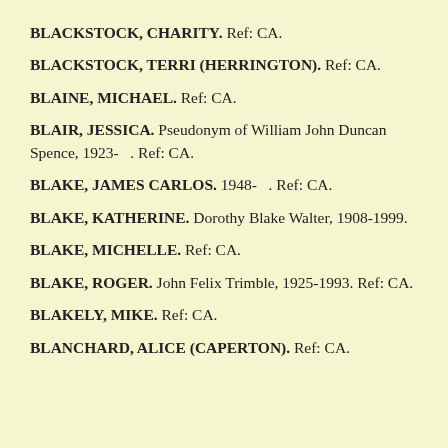BLACKSTOCK, CHARITY. Ref: CA.
BLACKSTOCK, TERRI (HERRINGTON). Ref: CA.
BLAINE, MICHAEL. Ref: CA.
BLAIR, JESSICA. Pseudonym of William John Duncan Spence, 1923-   . Ref: CA.
BLAKE, JAMES CARLOS. 1948-   . Ref: CA.
BLAKE, KATHERINE. Dorothy Blake Walter, 1908-1999.
BLAKE, MICHELLE. Ref: CA.
BLAKE, ROGER. John Felix Trimble, 1925-1993. Ref: CA.
BLAKELY, MIKE. Ref: CA.
BLANCHARD, ALICE (CAPERTON). Ref: CA.